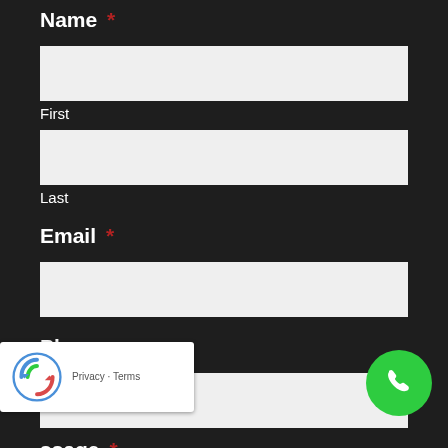Name *
First
Last
Email *
Phone
ssage *
[Figure (other): reCAPTCHA badge with logo and Privacy - Terms links]
[Figure (other): Green circular phone call button with white phone icon]